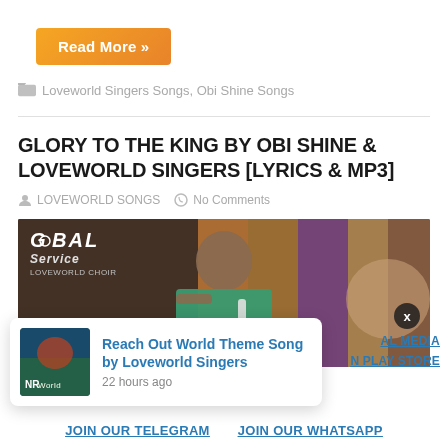Read More »
Loveworld Singers Songs, Obi Shine Songs
GLORY TO THE KING BY OBI SHINE & LOVEWORLD SINGERS [LYRICS & MP3]
LOVEWORLD SONGS   No Comments
[Figure (photo): Photo of Obi Shine performing at Global Service with microphone, wearing a teal jacket, with colorful stage backdrop. GLOBAL written in top left.]
Reach Out World Theme Song by Loveworld Singers
22 hours ago
AL MEDIA
N PLAY STORE
JOIN OUR TELEGRAM   JOIN OUR WHATSAPP